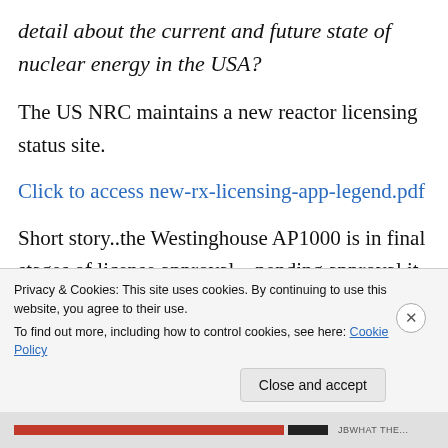detail about the current and future state of nuclear energy in the USA?
The US NRC maintains a new reactor licensing status site.
Click to access new-rx-licensing-app-legend.pdf
Short story..the Westinghouse AP1000 is in final stages of license approval…pending approval it is a reasonable bet at least 2 will be built (The Voatle project is already well along with site
Privacy & Cookies: This site uses cookies. By continuing to use this website, you agree to their use.
To find out more, including how to control cookies, see here: Cookie Policy
Close and accept